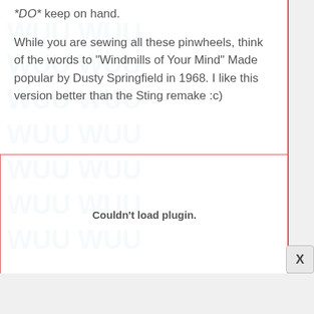*DO* keep on hand.
While you are sewing all these pinwheels, think of the words to "Windmills of Your Mind" Made popular by Dusty Springfield in 1968. I like this version better than the Sting remake :c)
[Figure (other): Plugin embed area showing 'Couldn't load plugin.' message with red border, and a close button (X) in bottom right corner. Background shows faint watermark-style repeated text pattern in light blue.]